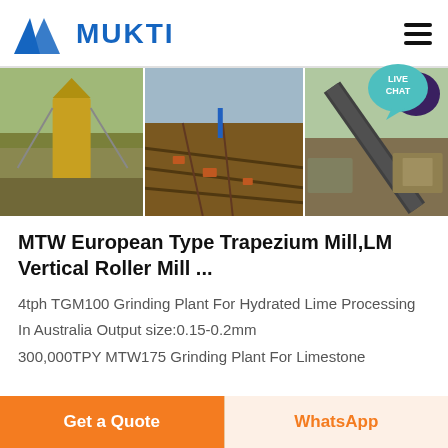MUKTI
[Figure (photo): Three side-by-side industrial/mining site photographs showing quarry processing equipment, open-pit mining operations, and conveyor belt systems.]
MTW European Type Trapezium Mill,LM Vertical Roller Mill ...
4tph TGM100 Grinding Plant For Hydrated Lime Processing In Australia Output size:0.15-0.2mm 300,000TPY MTW175 Grinding Plant For Limestone